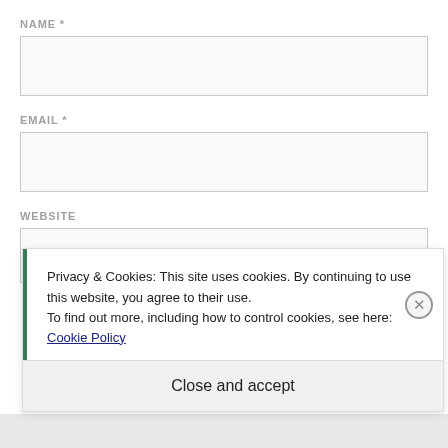NAME *
[Figure (screenshot): Empty text input field for Name]
EMAIL *
[Figure (screenshot): Empty text input field for Email]
WEBSITE
[Figure (screenshot): Empty text input field for Website (partially visible)]
Privacy & Cookies: This site uses cookies. By continuing to use this website, you agree to their use.
To find out more, including how to control cookies, see here: Cookie Policy
Close and accept